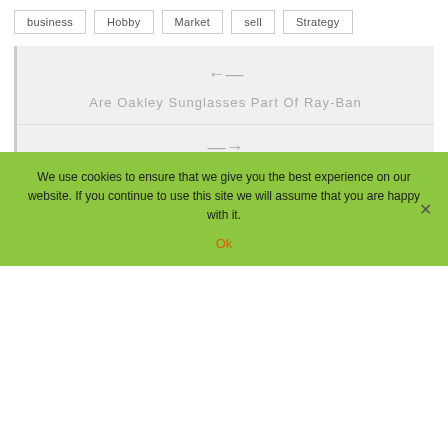business
Hobby
Market
sell
Strategy
← Are Oakley Sunglasses Part Of Ray-Ban
→ How Many Crypto Coins Should You Have in Your Portfolio?
RELATED POSTS
We use cookies to ensure that we give you the best experience on our website. If you continue to use this site we will assume that you are happy with it.
Ok